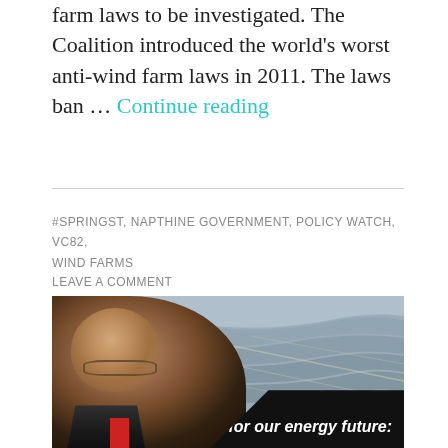farm laws to be investigated. The Coalition introduced the world's worst anti-wind farm laws in 2011. The laws ban … Continue reading
#SPRINGST, NAPTHINE GOVERNMENT, POLICY WATCH, VC82, WIND FARMS
LEAVE A COMMENT
[Figure (photo): Photo of a man in a suit with glasses smiling, overlaid on an aerial industrial landscape image, with a dark banner in the bottom right reading 'for our energy future:']